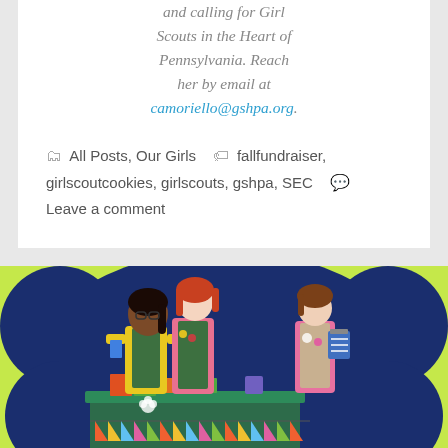and calling for Girl Scouts in the Heart of Pennsylvania. Reach her by email at camoriello@gshpa.org.
All Posts, Our Girls  fallfundraiser, girlscoutcookies, girlscouts, gshpa, SEC  Leave a comment
[Figure (illustration): Illustration of three Girl Scouts standing at a green decorated booth/table with colorful pennant bunting. The girls are wearing Scout vests with badges. The background is dark blue with a lime green border. Cookie boxes are on the table.]